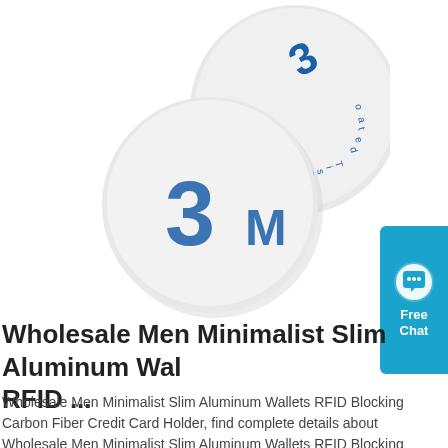[Figure (photo): Three round white NFC/RFID sticker discs with 3M adhesive tape branding visible, shown on white background]
Wholesale Men Minimalist Slim Aluminum Wal RFID ...
Wholesale Men Minimalist Slim Aluminum Wallets RFID Blocking Carbon Fiber Credit Card Holder, find complete details about Wholesale Men Minimalist Slim Aluminum Wallets RFID Blocking Carbon Fiber Credit Card Holder, card wallet minimalist, Metal Credit Card Holder money clip, minimalist credit card wallet - Sh.
[Figure (infographic): Blue chat button widget with speech bubble icon and text 'Free Chat']